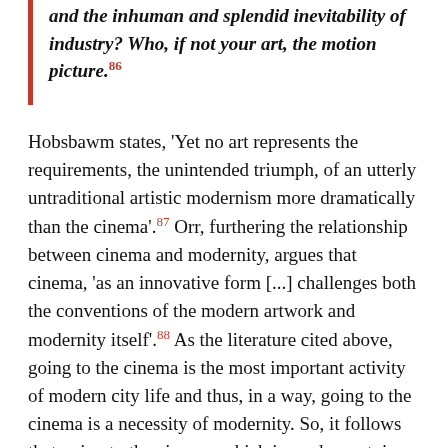and the inhuman and splendid inevitability of industry? Who, if not your art, the motion picture.[86]
Hobsbawm states, 'Yet no art represents the requirements, the unintended triumph, of an utterly untraditional artistic modernism more dramatically than the cinema'.[87] Orr, furthering the relationship between cinema and modernity, argues that cinema, 'as an innovative form [...] challenges both the conventions of the modern artwork and modernity itself'.[88] As the literature cited above, going to the cinema is the most important activity of modern city life and thus, in a way, going to the cinema is a necessity of modernity. So, it follows that going to the cinema, which is modern art, is a necessity of being